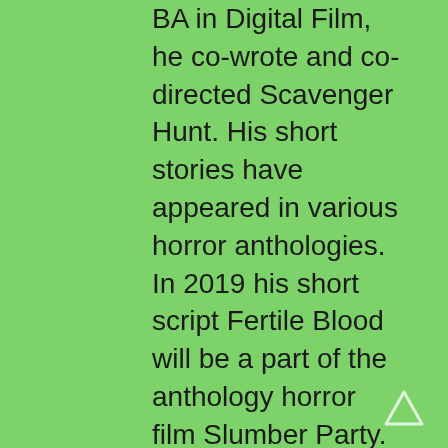BA in Digital Film, he co-wrote and co-directed Scavenger Hunt. His short stories have appeared in various horror anthologies. In 2019 his short script Fertile Blood will be a part of the anthology horror film Slumber Party. He is currently working on his first novel A Dark and Secret Place set to be released in late 2019. Favorite Films: Taxi Driver, Fight Club, I